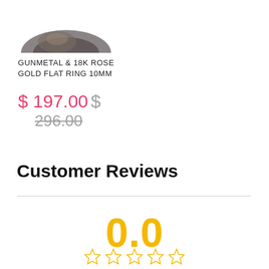[Figure (photo): Partial image of a gunmetal and rose gold ring, cropped at the top of the page]
GUNMETAL & 18K ROSE GOLD FLAT RING 10MM
$ 197.00 $ 296.00
Customer Reviews
0.0
[Figure (other): 5 empty star rating icons in gold/yellow outline]